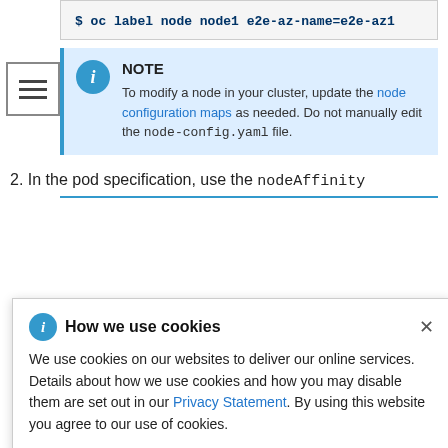$ oc label node node1 e2e-az-name=e2e-az1
NOTE
To modify a node in your cluster, update the node configuration maps as needed. Do not manually edit the node-config.yaml file.
2. In the pod specification, use the nodeAffinity
How we use cookies
We use cookies on our websites to deliver our online services. Details about how we use cookies and how you may disable them are set out in our Privacy Statement. By using this website you agree to our use of cookies.